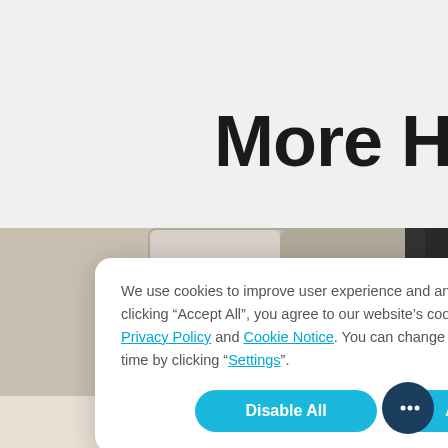More H
[Figure (photo): Partial view of a photo showing a metallic surface and a blue bicycle basket on the right side]
We use cookies to improve user experience and analyze website traffic. By clicking “Accept All”, you agree to our website’s cookie use as described in our Privacy Policy and Cookie Notice. You can change your cookie settings at any time by clicking “Settings”.
Disable All
Accept All